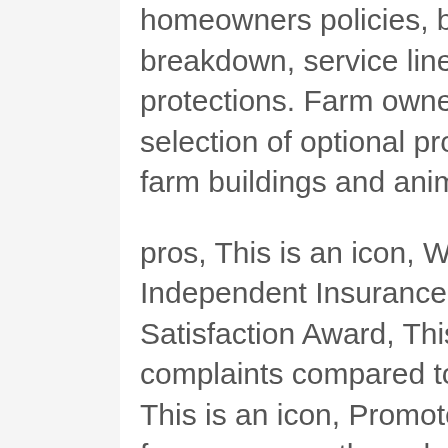homeowners policies, but also include devices breakdown, service line water and backup protections. Farm owners can also pick from a selection of optional protections, to secure removed farm buildings and animals.
pros, This is an icon, Won the 2019 J.D. Power U.S. Independent Insurance Coverage Representative Satisfaction Award, This is an icon, Gets much lower complaints compared to the nationwide average, This is an icon, Promotes a long-lasting relationship for consumers through independent insurance agentscons, This is an